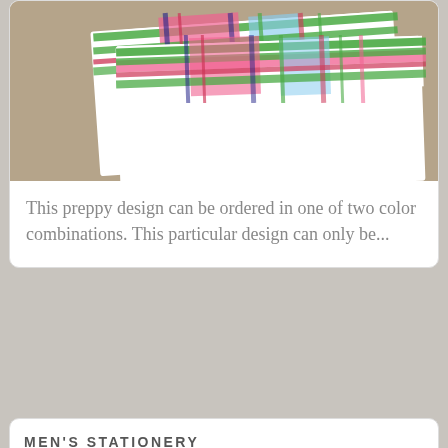[Figure (photo): Photo of preppy plaid stationery cards with colorful green, pink, blue plaid pattern on white cards, placed on a tan/kraft paper background]
This preppy design can be ordered in one of two color combinations. This particular design can only be...
MEN'S STATIONERY
[Figure (photo): Photo of white stationery card on kraft paper background with text 'Austin Dowling Ditzler' printed in bold serif font]